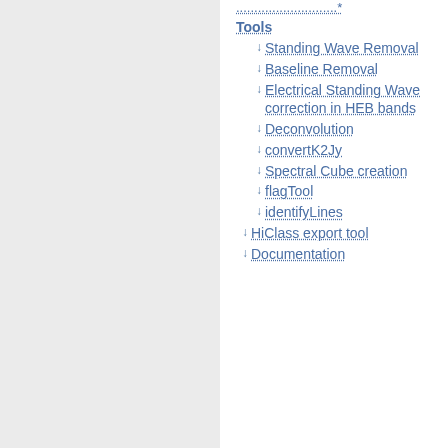Tools
↓ Standing Wave Removal
↓ Baseline Removal
↓ Electrical Standing Wave correction in HEB bands
↓ Deconvolution
↓ convertK2Jy
↓ Spectral Cube creation
↓ flagTool
↓ identifyLines
↓ HiClass export tool
↓ Documentation